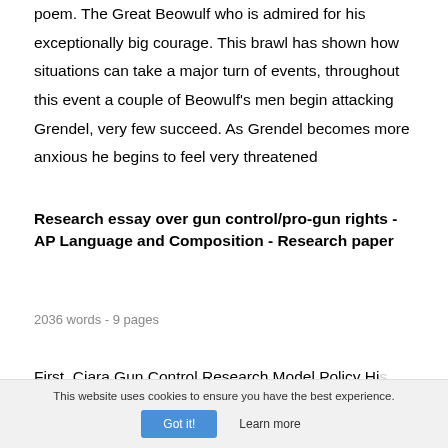poem. The Great Beowulf who is admired for his exceptionally big courage. This brawl has shown how situations can take a major turn of events, throughout this event a couple of Beowulf's men begin attacking Grendel, very few succeed. As Grendel becomes more anxious he begins to feel very threatened
Research essay over gun control/pro-gun rights - AP Language and Composition - Research paper
2036 words - 9 pages
First, Ciara Gun Control Research Model Policy His...
This website uses cookies to ensure you have the best experience.